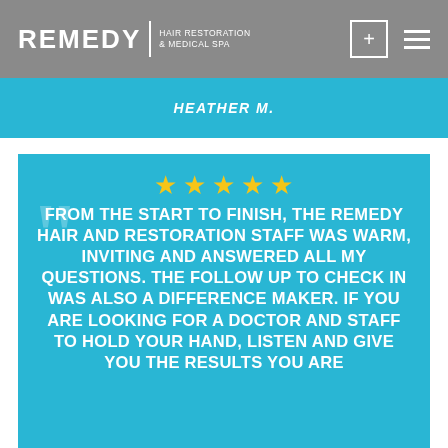[Figure (logo): Remedy Hair Restoration & Medical Spa logo with navigation icons (plus and menu)]
HEATHER M.
★★★★★ FROM THE START TO FINISH, THE REMEDY HAIR AND RESTORATION STAFF WAS WARM, INVITING AND ANSWERED ALL MY QUESTIONS. THE FOLLOW UP TO CHECK IN WAS ALSO A DIFFERENCE MAKER. IF YOU ARE LOOKING FOR A DOCTOR AND STAFF TO HOLD YOUR HAND, LISTEN AND GIVE YOU THE RESULTS YOU ARE